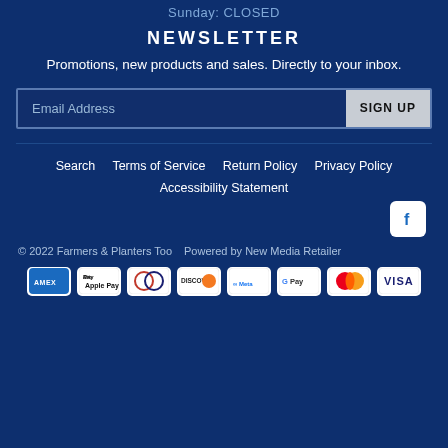Sunday: CLOSED
NEWSLETTER
Promotions, new products and sales. Directly to your inbox.
Email Address  SIGN UP
Search   Terms of Service   Return Policy   Privacy Policy   Accessibility Statement
[Figure (logo): Facebook social media icon, white f on white square with rounded corners]
© 2022 Farmers & Planters Too    Powered by New Media Retailer
[Figure (infographic): Payment method icons: American Express, Apple Pay, Diners Club, Discover, Meta Pay, Google Pay, Mastercard, Visa]